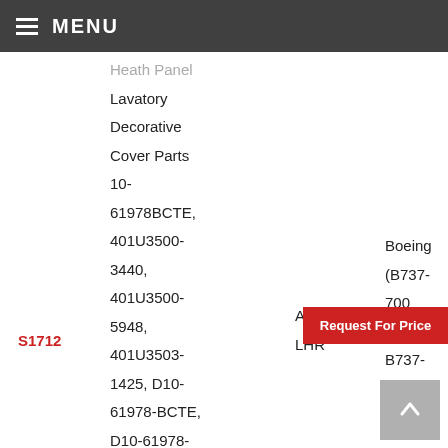MENU
Heath Panel Lavatory Decorative Cover Parts
10-61978BCTE, 401U3500-3440, 401U3500-5948, 401U3503-1425, D10-61978-BCTE, D10-61978-BCUW, D10-
S1712
AerFilm LHR
Boeing (B737-700 series, B737-800 series)
Request For Price